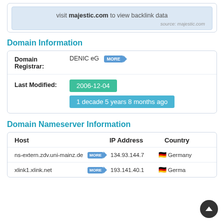[Figure (screenshot): Backlink info box with text: visit majestic.com to view backlink data. Source: majestic.com]
Domain Information
|  |  |
| --- | --- |
| Domain Registrar: | DENIC eG MORE |
| Last Modified: | 2006-12-04
1 decade 5 years 8 months ago |
Domain Nameserver Information
| Host | IP Address | Country |
| --- | --- | --- |
| ns-extern.zdv.uni-mainz.de MORE | 134.93.144.7 | Germany |
| xlink1.xlink.net MORE | 193.141.40.1 | Germany |